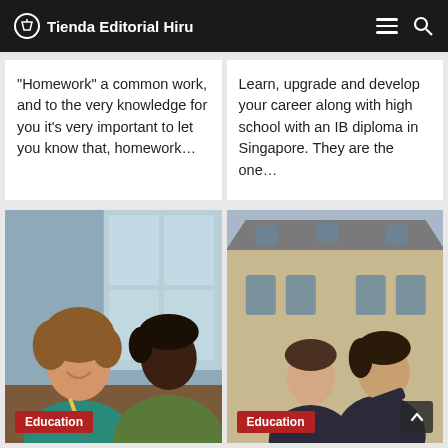Tienda Editorial Hiru
“Homework” a common work, and to the very knowledge for you it’s very important to let you know that, homework…
Learn, upgrade and develop your career along with high school with an IB diploma in Singapore. They are the one…
[Figure (photo): A young girl with curly red hair smiling while writing, with a Black female teacher in a green sweater leaning in to help, in a classroom setting]
Education
[Figure (photo): Two teenage girls in dark school uniforms standing outside a traditional stone school building, one with a ponytail looking at camera]
Education